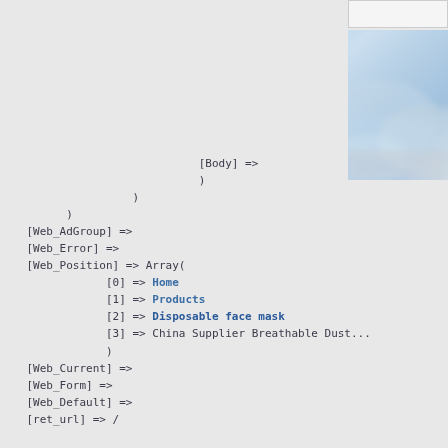[Figure (photo): White rectangle UI element at top right, and a blurred photo of light blue fabric/disposable face mask below it]
[Body] =>
)
)
)
[Web_AdGroup] =>
[Web_Error] =>
[Web_Position] => Array(
    [0] => Home
    [1] => Products
    [2] => Disposable face mask
    [3] => China Supplier Breathable Dust...
    )
[Web_Current] =>
[Web_Form] =>
[Web_Default] =>
[ret_url] => /